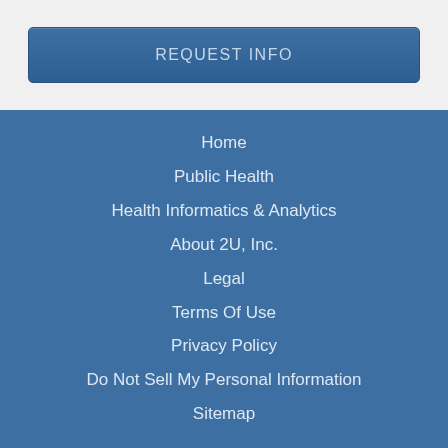REQUEST INFO
Home
Public Health
Health Informatics & Analytics
About 2U, Inc.
Legal
Terms Of Use
Privacy Policy
Do Not Sell My Personal Information
Sitemap